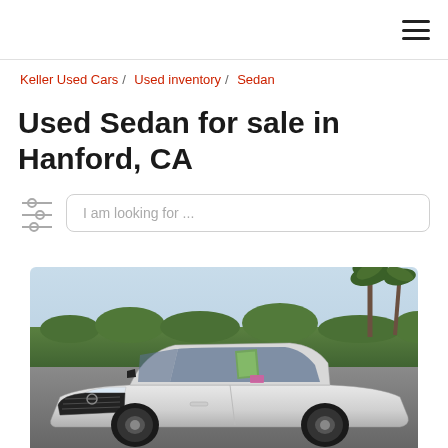≡ (hamburger menu icon)
Keller Used Cars / Used inventory / Sedan
Used Sedan for sale in Hanford, CA
I am looking for ...
[Figure (photo): White Nissan sedan parked outdoors with palm trees and hedges in background, green sticker on windshield, shot from front-left angle]